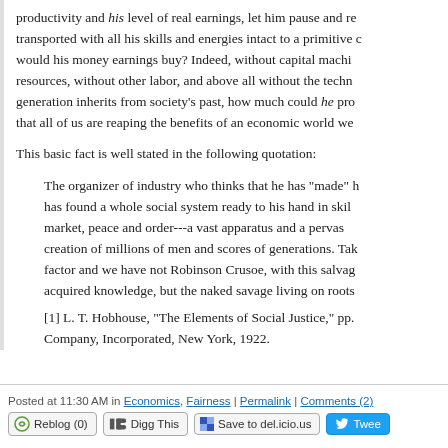productivity and his level of real earnings, let him pause and reflect: transported with all his skills and energies intact to a primitive e would his money earnings buy? Indeed, without capital machi resources, without other labor, and above all without the techn generation inherits from society's past, how much could he pro that all of us are reaping the benefits of an economic world we
This basic fact is well stated in the following quotation:
The organizer of industry who thinks that he has "made" h has found a whole social system ready to his hand in skil market, peace and order---a vast apparatus and a pervas creation of millions of men and scores of generations. Tak factor and we have not Robinson Crusoe, with this salvag acquired knowledge, but the naked savage living on roots
[1] L. T. Hobhouse, "The Elements of Social Justice," pp. Company, Incorporated, New York, 1922.
Posted at 11:30 AM in Economics, Fairness | Permalink | Comments (2)